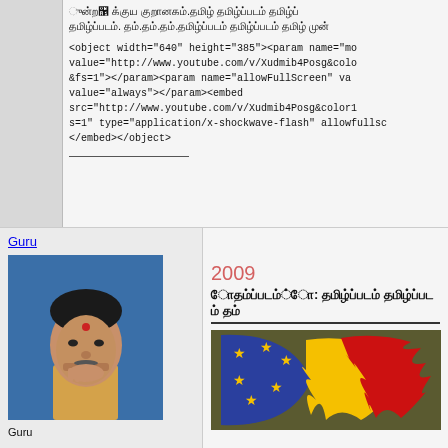[Tamil script text block]
<object width="640" height="385"><param name="mo value="http://www.youtube.com/v/Xudmib4Posg&colo &fs=1"></param><param name="allowFullScreen" va value="always"></param><embed src="http://www.youtube.com/v/Xudmib4Posg&color1 s=1" type="application/x-shockwave-flash" allowfullsc </embed></object>
Guru
[Figure (photo): Portrait photo of Guru - elderly Indian man in yellow/cream traditional clothing, hand on chin, red bindi on forehead, blue background]
Guru
2009
[Tamil script title text]
[Figure (illustration): Illustrated image showing a blue flag/shape with yellow stars (EU-style stars) with red and yellow flames on the right side, on olive/dark green background]